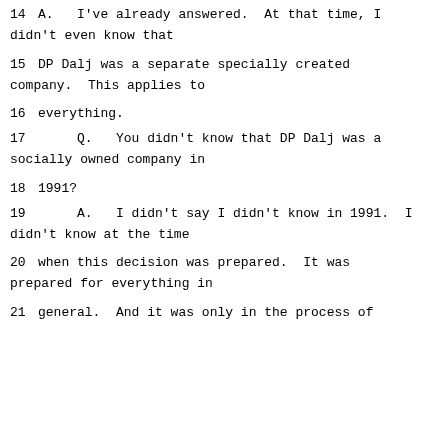14    A.   I've already answered.  At that time, I didn't even know that
15    DP Dalj was a separate specially created company.  This applies to
16    everything.
17         Q.   You didn't know that DP Dalj was a socially owned company in
18    1991?
19         A.   I didn't say I didn't know in 1991.  I didn't know at the time
20    when this decision was prepared.  It was prepared for everything in
21    general.  And it was only in the process of